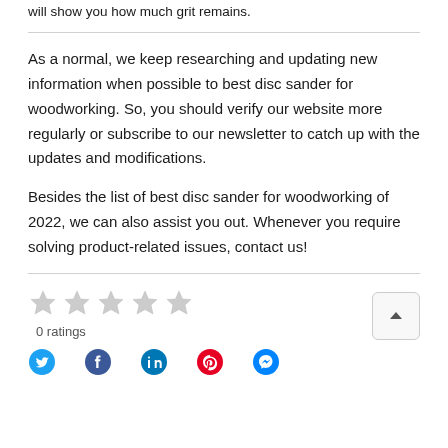will show you how much grit remains.
As a normal, we keep researching and updating new information when possible to best disc sander for woodworking. So, you should verify our website more regularly or subscribe to our newsletter to catch up with the updates and modifications.
Besides the list of best disc sander for woodworking of 2022, we can also assist you out. Whenever you require solving product-related issues, contact us!
[Figure (other): Five empty star rating icons (grey) indicating 0 ratings, with text '0 ratings' below]
[Figure (other): Social media icons row: Twitter (blue), Facebook (blue), LinkedIn (blue), Pinterest (red), another icon (blue/grey)]